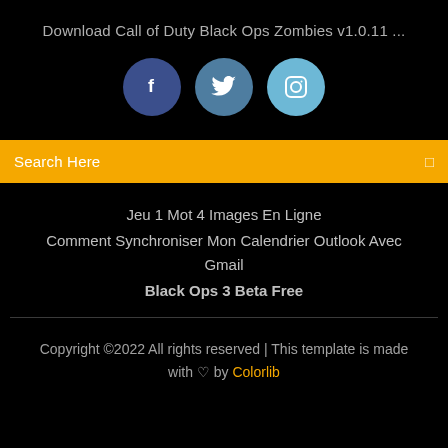Download Call of Duty Black Ops Zombies v1.0.11 …
[Figure (illustration): Three social media icon circles: Facebook (dark blue), Twitter (medium blue), Instagram (light blue), each with white icons inside]
Search Here
Jeu 1 Mot 4 Images En Ligne
Comment Synchroniser Mon Calendrier Outlook Avec Gmail
Black Ops 3 Beta Free
Copyright ©2022 All rights reserved | This template is made with ♡ by Colorlib